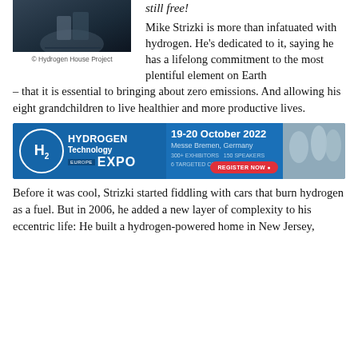[Figure (photo): Photo of a person near hydrogen-related equipment, dark background]
© Hydrogen House Project
still free!
Mike Strizki is more than infatuated with hydrogen. He's dedicated to it, saying he has a lifelong commitment to the most plentiful element on Earth – that it is essential to bringing about zero emissions. And allowing his eight grandchildren to live healthier and more productive lives.
[Figure (infographic): Hydrogen Technology Expo Europe banner ad. 19-20 October 2022, Messe Bremen, Germany. 300+ Exhibitors, 150 Speakers, 6 Targeted Conference Tracks. Register Now button.]
Before it was cool, Strizki started fiddling with cars that burn hydrogen as a fuel. But in 2006, he added a new layer of complexity to his eccentric life: He built a hydrogen-powered home in New Jersey,